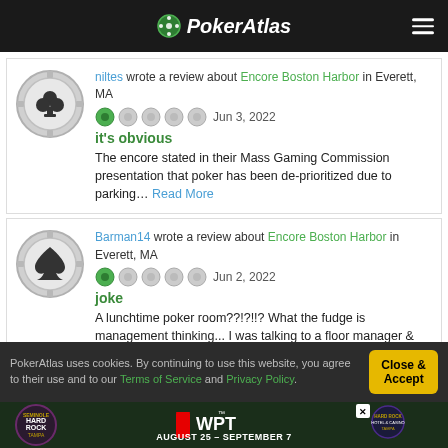PokerAtlas
niltes wrote a review about Encore Boston Harbor in Everett, MA — Jun 3, 2022
it's obvious
The encore stated in their Mass Gaming Commission presentation that poker has been de-prioritized due to parking... Read More
Barman14 wrote a review about Encore Boston Harbor in Everett, MA — Jun 2, 2022
joke
A lunchtime poker room??!?!!? What the fudge is management thinking... I was talking to a floor manager &
PokerAtlas uses cookies. By continuing to use this website, you agree to their use and to our Terms of Service and Privacy Policy.
Close & Accept
[Figure (infographic): WPT at Seminole Hard Rock Tampa advertisement banner, August 25 - September 7]